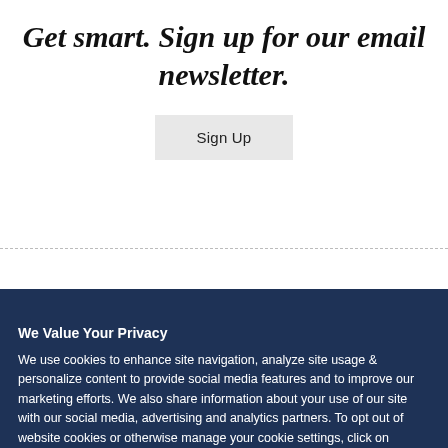Get smart. Sign up for our email newsletter.
Sign Up
We Value Your Privacy
We use cookies to enhance site navigation, analyze site usage & personalize content to provide social media features and to improve our marketing efforts. We also share information about your use of our site with our social media, advertising and analytics partners. To opt out of website cookies or otherwise manage your cookie settings, click on Cookie Settings. View O